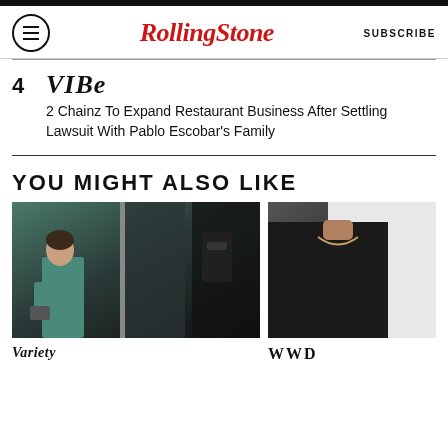RollingStone | SUBSCRIBE
4 VIBE — 2 Chainz To Expand Restaurant Business After Settling Lawsuit With Pablo Escobar's Family
YOU MIGHT ALSO LIKE
[Figure (photo): Person in teal medical scrubs looking down, standing near a glass door in dim light]
[Figure (photo): Person wearing a black t-shirt with a necklace, partially visible]
Variety
WWD